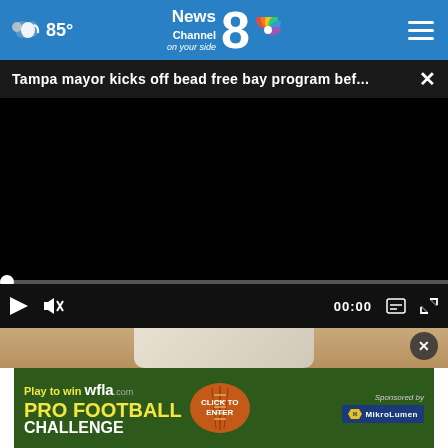85° News Channel 8 on your side
Tampa mayor kicks off bead free bay program bef...
[Figure (screenshot): Black video player with progress bar and controls showing 00:00 timestamp, play button, mute button, subtitles button, and fullscreen button]
[Figure (photo): Background image showing a toilet paper roll on a holder against a stone/marble wall, partially visible]
[Figure (infographic): Advertisement banner: Play to win wfla.com PRO FOOTBALL CHALLENGE with CLICK TO ENTER button and Sponsored by MikroLumen logo on green background]